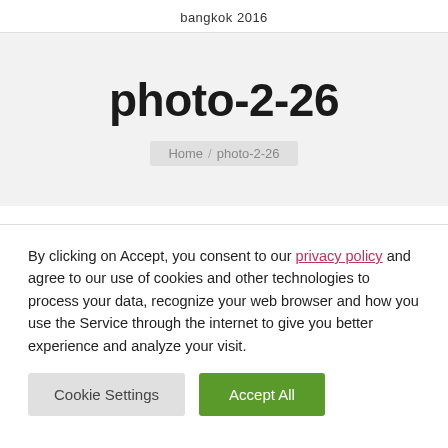bangkok 2016
photo-2-26
Home / photo-2-26
By clicking on Accept, you consent to our privacy policy and agree to our use of cookies and other technologies to process your data, recognize your web browser and how you use the Service through the internet to give you better experience and analyze your visit.
Cookie Settings  Accept All